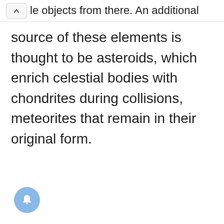le objects from there. An additional
source of these elements is thought to be asteroids, which enrich celestial bodies with chondrites during collisions, meteorites that remain in their original form.